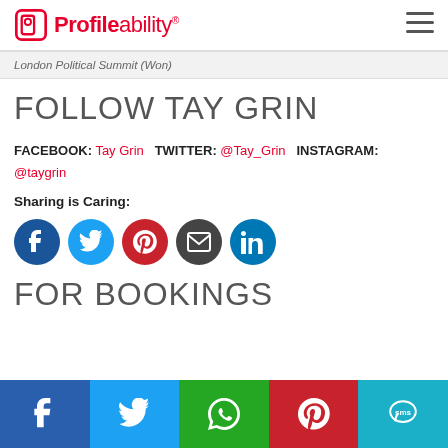Profileability®
London Political Summit (Won)
FOLLOW TAY GRIN
FACEBOOK: Tay Grin  TWITTER: @Tay_Grin  INSTAGRAM: @taygrin
Sharing is Caring:
[Figure (infographic): Row of 5 circular social share icons: Facebook (blue), Twitter (light blue), Pinterest (red), Email (dark grey), LinkedIn (blue)]
FOR BOOKINGS
[Figure (infographic): Bottom share bar with 5 icons: Facebook (blue), Twitter (light blue), WhatsApp (green), Pinterest (red), SMS (teal)]